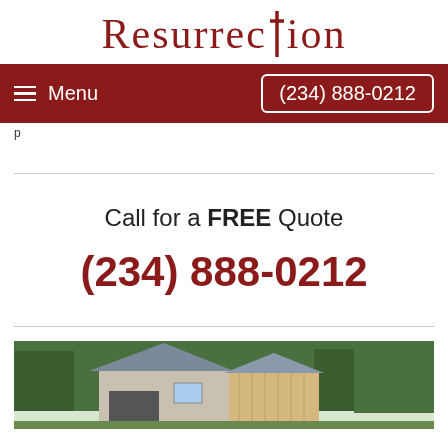RESURRECTION
Menu  (234) 888-0212
p
Call for a FREE Quote
(234) 888-0212
[Figure (photo): Photo of a house or building exterior with trees and roofing visible]